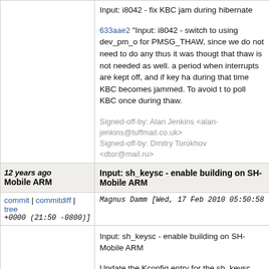Input: i8042 - fix KBC jam during hibernate
633aae2 "Input: i8042 - switch to using dev_pm_o for PMSG_THAW, since we do not need to do any thus it was thougt that thaw is not needed as well. a period when interrupts are kept off, and if key ha during that time KBC becomes jammed. To avoid t to poll KBC once during thaw.
Signed-off-by: Alan Jenkins <alan-jenkins@tuffmail.co.uk>
Signed-off-by: Dmitry Torokhov <dtor@mail.ru>
12 years ago Mobile ARM   Input: sh_keysc - enable building on SH-Mobile ARM
commit | commitdiff | tree   Magnus Damm [Wed, 17 Feb 2010 05:50:58 +0000 (21:50 -0800)]
Input: sh_keysc - enable building on SH-Mobile ARM

Update the Kconfig entry for the sh_keysc driver to enable build on SH-Mobile ARM platforms.

Signed-off-by: Magnus Damm <damm@opensource.se>
Signed-off-by: Dmitry Torokhov <dtor@mail.ru>